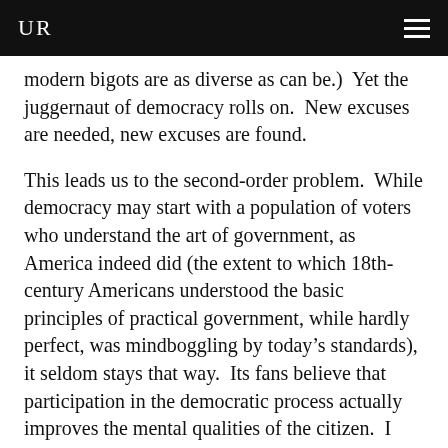UR
modern bigots are as diverse as can be.)  Yet the juggernaut of democracy rolls on.  New excuses are needed, new excuses are found.
This leads us to the second-order problem.  While democracy may start with a population of voters who understand the art of government, as America indeed did (the extent to which 18th-century Americans understood the basic principles of practical government, while hardly perfect, was mindboggling by today’s standards), it seldom stays that way.  Its fans believe that participation in the democratic process actually improves the mental qualities of the citizen.  I suppose this is true—for certain values of the words “improves.”